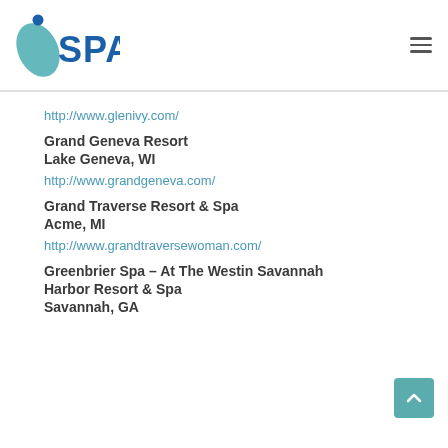iSPA
http://www.glenivy.com/
Grand Geneva Resort
Lake Geneva, WI
http://www.grandgeneva.com/
Grand Traverse Resort & Spa
Acme, MI
http://www.grandtraversewoman.com/
Greenbrier Spa – At The Westin Savannah Harbor Resort & Spa
Savannah, GA